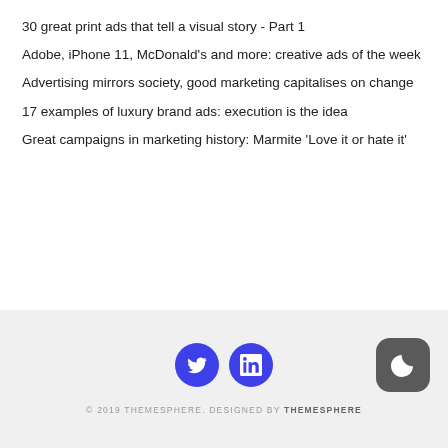30 great print ads that tell a visual story - Part 1
Adobe, iPhone 11, McDonald's and more: creative ads of the week
Advertising mirrors society, good marketing capitalises on change
17 examples of luxury brand ads: execution is the idea
Great campaigns in marketing history: Marmite 'Love it or hate it'
© 2019 THEMESPHERE. DESIGNED BY THEMESPHERE